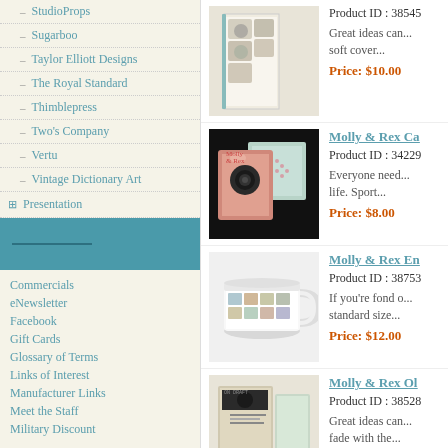StudioProps
Sugarboo
Taylor Elliott Designs
The Royal Standard
Thimblepress
Two's Company
Vertu
Vintage Dictionary Art
Presentation
Studio
Tripods & Supports
Video & Accessories
Warranties & Gift Cards
Commercials
eNewsletter
Facebook
Gift Cards
Glossary of Terms
Links of Interest
Manufacturer Links
Meet the Staff
Military Discount
Product ID : 38545
Great ideas can... soft cover...
Price: $10.00
Molly & Rex Ca
Product ID : 34229
Everyone need... life. Sport...
Price: $8.00
Molly & Rex En
Product ID : 38753
If you're fond o... standard size...
Price: $12.00
Molly & Rex Ol
Product ID : 38528
Great ideas can... fade with the...